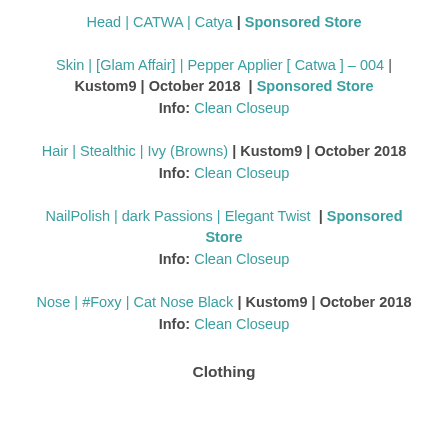Head | CATWA | Catya | Sponsored Store
Skin | [Glam Affair] | Pepper Applier [ Catwa ] – 004 | Kustom9 | October 2018 | Sponsored Store
Info: Clean Closeup
Hair | Stealthic | Ivy (Browns) | Kustom9 | October 2018
Info: Clean Closeup
NailPolish | dark Passions | Elegant Twist | Sponsored Store
Info: Clean Closeup
Nose | #Foxy | Cat Nose Black | Kustom9 | October 2018
Info: Clean Closeup
Clothing